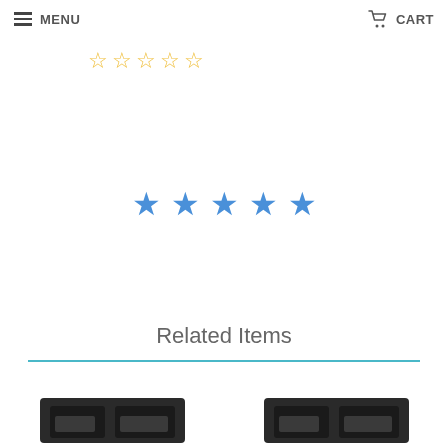MENU  CART
[Figure (other): Five empty yellow star rating icons]
[Figure (other): Five filled blue star icons]
BE THE FIRST TO WRITE A REVIEW
Related Items
[Figure (photo): Two product photos showing black car floor mats]